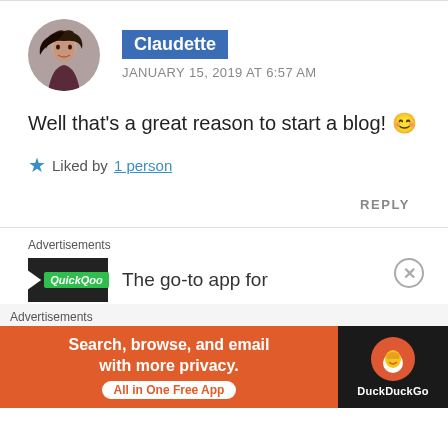Claudette
JANUARY 15, 2019 AT 6:57 AM
Well that's a great reason to start a blog! 😊
Liked by 1 person
REPLY
Advertisements
The go-to app for
Advertisements
Search, browse, and email with more privacy. All in One Free App
DuckDuckGo